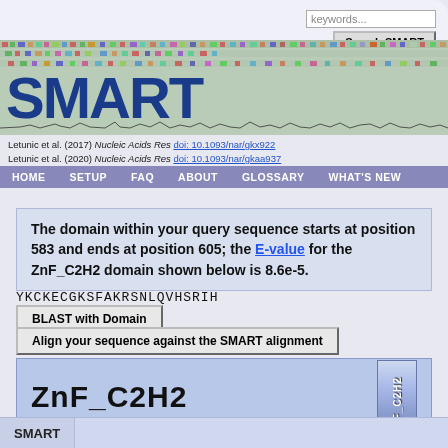keywords... Search SMART
[Figure (screenshot): SMART database banner with colorful multiple sequence alignment background and large blue SMART text logo]
Letunic et al. (2017) Nucleic Acids Res doi: 10.1093/nar/gkx922
Letunic et al. (2020) Nucleic Acids Res doi: 10.1093/nar/gkaa937
HOME SETUP FAQ ABOUT GLOSSARY WHAT'S NEW
The domain within your query sequence starts at position 583 and ends at position 605; the E-value for the ZnF_C2H2 domain shown below is 8.6e-5.
YKCKECGKSFAKRSNLQVHSRIH
BLAST with Domain
Align your sequence against the SMART alignment
ZnF_C2H2
zinc finger
SMART